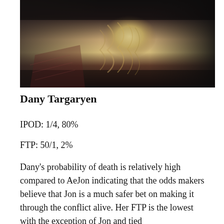[Figure (photo): A photo showing a woman with long wavy blonde hair, dressed in dark medieval/fantasy style clothing, seated at a wooden table in dim lighting.]
Dany Targaryen
IPOD: 1/4, 80%
FTP: 50/1, 2%
Dany's probability of death is relatively high compared to AeJon indicating that the odds makers believe that Jon is a much safer bet on making it through the conflict alive. Her FTP is the lowest with the exception of Jon and tied